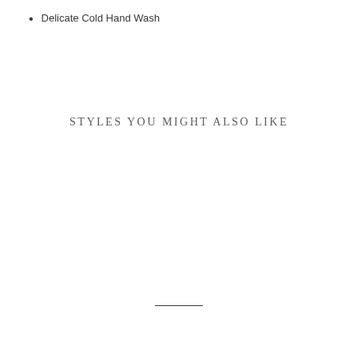Delicate Cold Hand Wash
STYLES YOU MIGHT ALSO LIKE